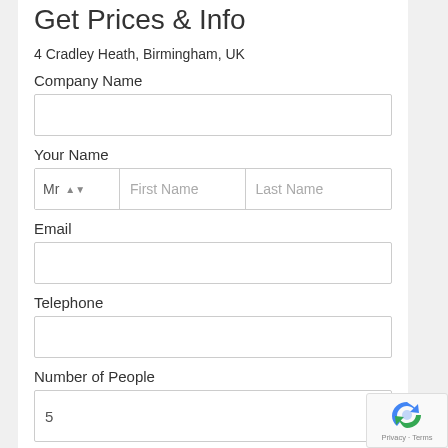Get Prices & Info
4 Cradley Heath, Birmingham, UK
Company Name
Your Name
Email
Telephone
Number of People
5
Get Prices & Info